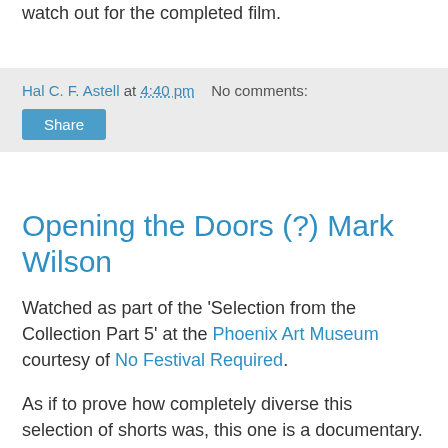watch out for the completed film.
Hal C. F. Astell at 4:40 pm   No comments:
Share
Opening the Doors (?) Mark Wilson
Watched as part of the 'Selection from the Collection Part 5' at the Phoenix Art Museum courtesy of No Festival Required.
As if to prove how completely diverse this selection of shorts was, this one is a documentary. It's about an elderly lady going into care, but it's very much different from what you might expect. The focus isn't on who the lady is, it's about the transition between what she was to what she will become. As a packrat, the biggest change is going from somewhere full of stuff to somewhere not big enough to have much of anything at all.